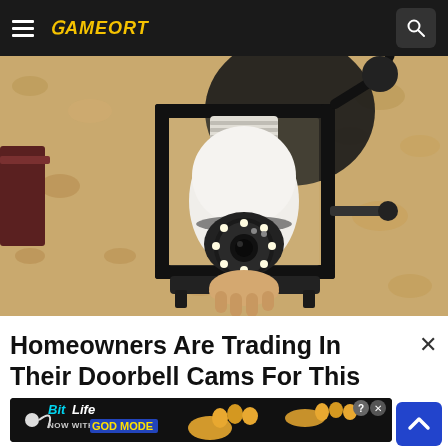GAMEORT
[Figure (photo): A smart light bulb security camera with LED ring installed inside a black metal outdoor wall lantern fixture, mounted on a textured stucco wall. A hand is visible holding or installing the white spherical camera bulb.]
Homeowners Are Trading In Their Doorbell Cams For This
[Figure (other): BitLife advertisement banner: 'NOW WITH GOD MODE' on dark background with pointing hand cartoon graphics and info/close icons]